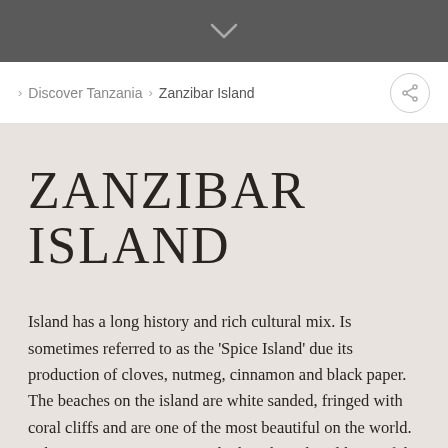> Discover Tanzania > Zanzibar Island
ZANZIBAR ISLAND
Island has a long history and rich cultural mix. Is sometimes referred to as the 'Spice Island' due its production of cloves, nutmeg, cinnamon and black paper. The beaches on the island are white sanded, fringed with coral cliffs and are one of the most beautiful on the world. Take a tour to Stone Town which is the cultural heart of the island and recognized UNESCO world Heritage Site.